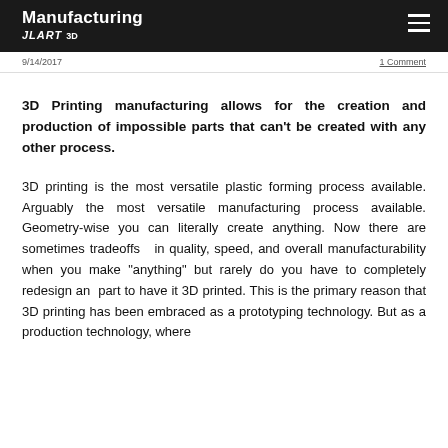Manufacturing
JLART 3D
9/14/2017
1 Comment
3D Printing manufacturing allows for the creation and production of impossible parts that can't be created with any other process.
3D printing is the most versatile plastic forming process available. Arguably the most versatile manufacturing process available. Geometry-wise you can literally create anything. Now there are sometimes tradeoffs in quality, speed, and overall manufacturability when you make "anything" but rarely do you have to completely redesign an part to have it 3D printed. This is the primary reason that 3D printing has been embraced as a prototyping technology. But as a production technology, where